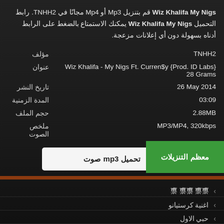Wiz Khalifa My Nigs قم بتنزيل Mp3 أو Mp4 مجانًا في TNHH2. رابط التحميل Wiz Khalifa My Nigs يمكنك الاستمتاع بالضغط على الرابط أدناه بسهولة دون أي إعلانات مزعجة.
| الحقل | القيمة |
| --- | --- |
| مؤلف | TNHH2 |
| عنوان | Wiz Khalifa - My Nigs Ft. Curren$y {Prod. ID Labs} 28 Grams |
| تاريخ النشر | 26 May 2014 |
| المدة الزمنية | 03:09 |
| حجم الملف | 2.88MB |
| ملخص الصوت | MP3/MP4, 320kbps |
تحميل mp3 صوت
معظم التنزيلات
‹ 鿿 鿿鿿 鿿鿿
‹ اغنية كرستيانو
‹ حبي الاول